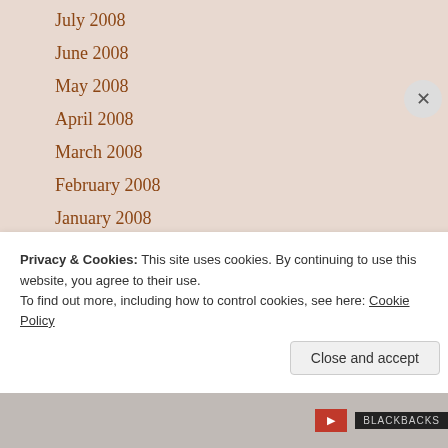July 2008
June 2008
May 2008
April 2008
March 2008
February 2008
January 2008
December 2007
November 2007
October 2007
September 2007
August 2007
July 2007
June 2007
May 2007
Privacy & Cookies: This site uses cookies. By continuing to use this website, you agree to their use.
To find out more, including how to control cookies, see here: Cookie Policy
Close and accept